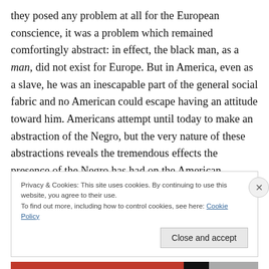they posed any problem at all for the European conscience, it was a problem which remained comfortingly abstract: in effect, the black man, as a man, did not exist for Europe. But in America, even as a slave, he was an inescapable part of the general social fabric and no American could escape having an attitude toward him. Americans attempt until today to make an abstraction of the Negro, but the very nature of these abstractions reveals the tremendous effects the presence of the Negro has had on the American character.
Privacy & Cookies: This site uses cookies. By continuing to use this website, you agree to their use.
To find out more, including how to control cookies, see here: Cookie Policy